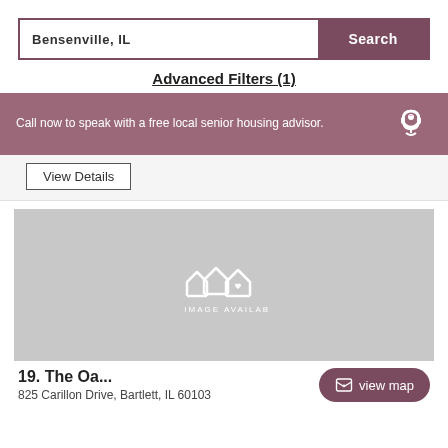Bensenville, IL
Search
Advanced Filters (1)
Call now to speak with a free local senior housing advisor.
View Details
[Figure (illustration): Gray placeholder block with house/heart icon and text NO IMAGE AVAILABLE]
view map
19. The Oa...
825 Carillon Drive, Bartlett, IL 60103